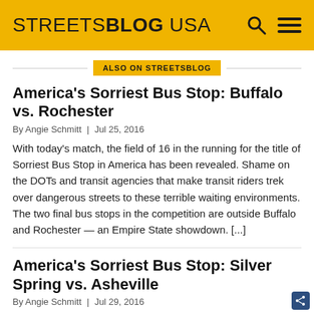STREETSBLOG USA
ALSO ON STREETSBLOG
America's Sorriest Bus Stop: Buffalo vs. Rochester
By Angie Schmitt | Jul 25, 2016
With today's match, the field of 16 in the running for the title of Sorriest Bus Stop in America has been revealed. Shame on the DOTs and transit agencies that make transit riders trek over dangerous streets to these terrible waiting environments. The two final bus stops in the competition are outside Buffalo and Rochester — an Empire State showdown. [...]
America's Sorriest Bus Stop: Silver Spring vs. Asheville
By Angie Schmitt | Jul 29, 2016